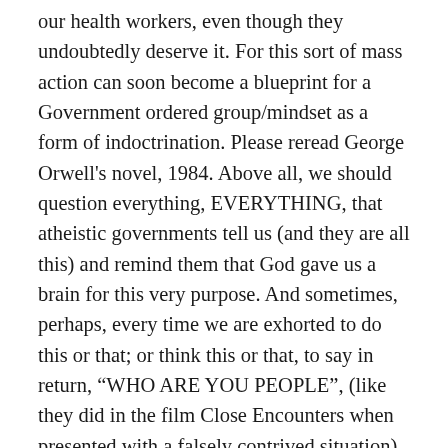our health workers, even though they undoubtedly deserve it. For this sort of mass action can soon become a blueprint for a Government ordered group/mindset as a form of indoctrination. Please reread George Orwell's novel, 1984. Above all, we should question everything, EVERYTHING, that atheistic governments tell us (and they are all this) and remind them that God gave us a brain for this very purpose. And sometimes, perhaps, every time we are exhorted to do this or that; or think this or that, to say in return, “WHO ARE YOU PEOPLE”, (like they did in the film Close Encounters when presented with a falsely contrived situation) for It may be that they are just doing the work of Satan. Let us pray diligently for guidance and illumination that we may not be deceived.